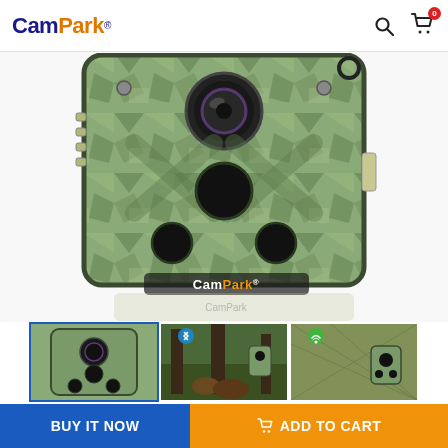CamPark®
[Figure (photo): Close-up front view of a CamPark trail camera with green camouflage casing, showing lens, IR sensors, and CamPark branding on the bottom]
[Figure (photo): Thumbnail: front view of CamPark trail camera (active/selected)]
[Figure (photo): Thumbnail: CamPark trail camera mounted on a tree in a forest with bears in foreground and Bluetooth icon]
[Figure (photo): Thumbnail: CamPark trail camera mounted on camouflage netting with WiFi icon]
BUY IT NOW
ADD TO CART